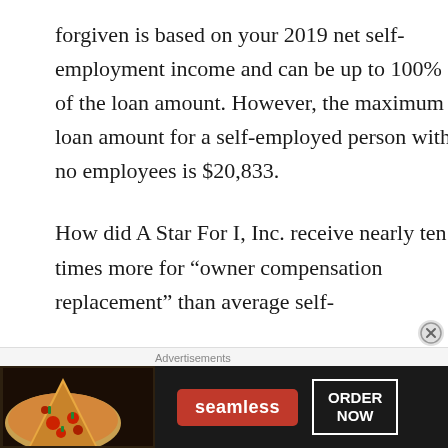forgiven is based on your 2019 net self-employment income and can be up to 100% of the loan amount. However, the maximum loan amount for a self-employed person with no employees is $20,833.
How did A Star For I, Inc. receive nearly ten times more for “owner compensation replacement” than average self-
[Figure (other): Seamless food delivery advertisement banner showing pizza image on left, Seamless red logo in center, and ORDER NOW button on right with dark background]